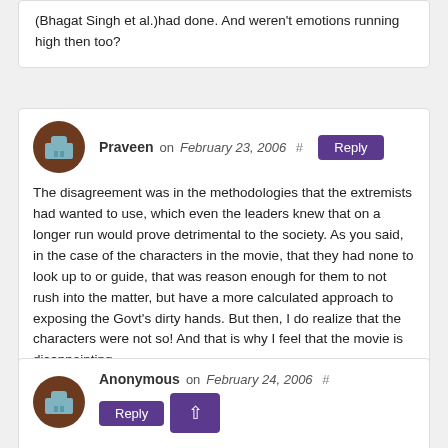(Bhagat Singh et al.)had done. And weren't emotions running high then too?
Praveen on February 23, 2006 # Reply
The disagreement was in the methodologies that the extremists had wanted to use, which even the leaders knew that on a longer run would prove detrimental to the society. As you said, in the case of the characters in the movie, that they had none to look up to or guide, that was reason enough for them to not rush into the matter, but have a more calculated approach to exposing the Govt's dirty hands. But then, I do realize that the characters were not so! And that is why I feel that the movie is disappointing.
Anonymous on February 24, 2006 # Reply
Ok.